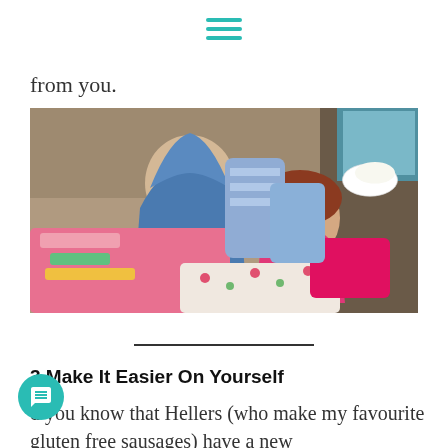[Figure (other): Hamburger menu icon with three horizontal teal lines]
from you.
[Figure (photo): Two young children lying on a sofa wrapped in colorful blankets and pillows. One child wearing a blue hoodie, the other in a pink top with red hair. A plate is visible on the sofa in the background.]
___________
3 Make It Easier On Yourself
d you know that Hellers (who make my favourite gluten free sausages) have a new